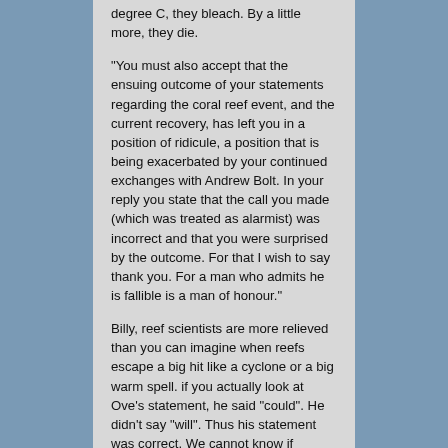degree C, they bleach. By a little more, they die.
“You must also accept that the ensuing outcome of your statements regarding the coral reef event, and the current recovery, has left you in a position of ridicule, a position that is being exacerbated by your continued exchanges with Andrew Bolt. In your reply you state that the call you made (which was treated as alarmist) was incorrect and that you were surprised by the outcome. For that I wish to say thank you. For a man who admits he is fallible is a man of honour.”
Billy, reef scientists are more relieved than you can imagine when reefs escape a big hit like a cyclone or a big warm spell. if you actually look at Ove’s statement, he said “could”. He didn’t say “will”. Thus his statement was correct. We cannot know if